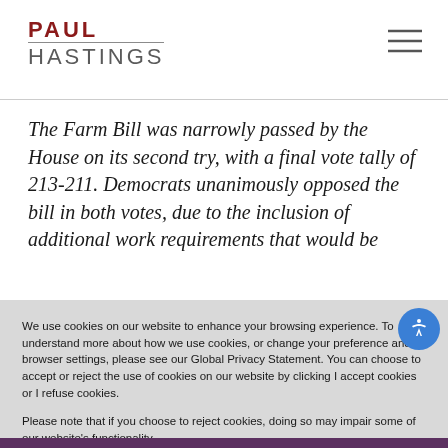PAUL HASTINGS
The Farm Bill was narrowly passed by the House on its second try, with a final vote tally of 213-211. Democrats unanimously opposed the bill in both votes, due to the inclusion of additional work requirements that would be
We use cookies on our website to enhance your browsing experience. To understand more about how we use cookies, or change your preference and browser settings, please see our Global Privacy Statement. You can choose to accept or reject the use of cookies on our website by clicking I accept cookies or I refuse cookies.

Please note that if you choose to reject cookies, doing so may impair some of our website’s functionality.